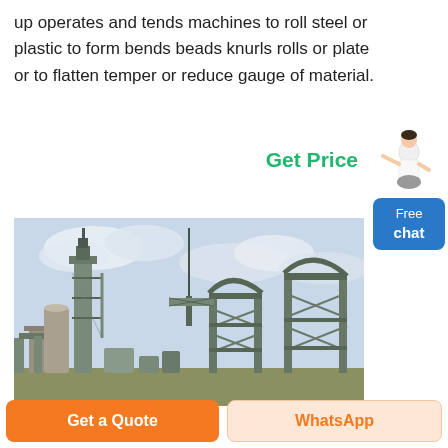up operates and tends machines to roll steel or plastic to form bends beads knurls rolls or plate or to flatten temper or reduce gauge of material.
Get Price
[Figure (photo): Industrial steel plant or factory with tall structures, scaffolding, towers, and machinery against a cloudy sky.]
Get a Quote
WhatsApp